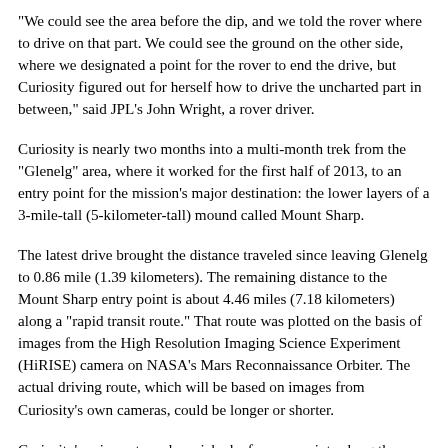"We could see the area before the dip, and we told the rover where to drive on that part. We could see the ground on the other side, where we designated a point for the rover to end the drive, but Curiosity figured out for herself how to drive the uncharted part in between," said JPL's John Wright, a rover driver.
Curiosity is nearly two months into a multi-month trek from the "Glenelg" area, where it worked for the first half of 2013, to an entry point for the mission's major destination: the lower layers of a 3-mile-tall (5-kilometer-tall) mound called Mount Sharp.
The latest drive brought the distance traveled since leaving Glenelg to 0.86 mile (1.39 kilometers). The remaining distance to the Mount Sharp entry point is about 4.46 miles (7.18 kilometers) along a "rapid transit route." That route was plotted on the basis of images from the High Resolution Imaging Science Experiment (HiRISE) camera on NASA's Mars Reconnaissance Orbiter. The actual driving route, which will be based on images from Curiosity's own cameras, could be longer or shorter.
Curiosity's science team has picked a few waypoints along the